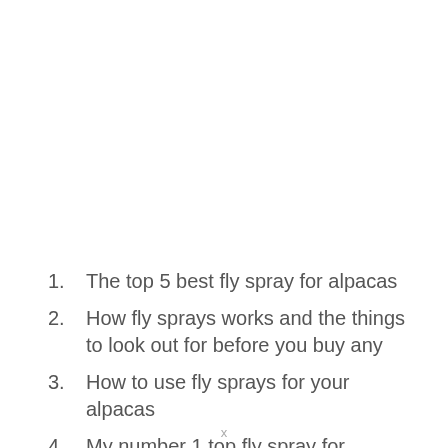1. The top 5 best fly spray for alpacas
2. How fly sprays works and the things to look out for before you buy any
3. How to use fly sprays for your alpacas
4. My number 1 top fly spray for alpacas
5. And so much more